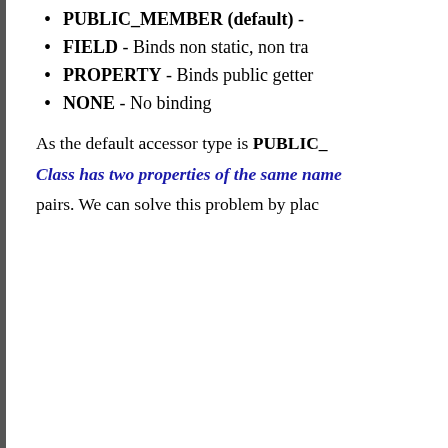PUBLIC_MEMBER (default) -
FIELD - Binds non static, non tra
PROPERTY - Binds public getter
NONE - No binding
As the default accessor type is PUBLIC_ Class has two properties of the same name pairs. We can solve this problem by plac
[Figure (screenshot): Code box with dark gray header showing 'File Name' in green italic, and Java source code below showing package declaration, imports for java.util.Date and javax.xml.bind.annotation.X (multiple lines), and @XmlRootElement(name = "student") annotation.]